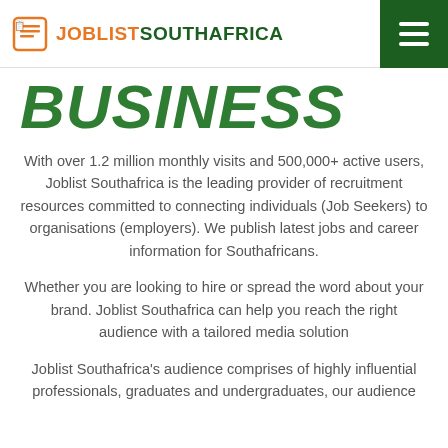JOBLIST SOUTHAFRICA
BUSINESS
With over 1.2 million monthly visits and 500,000+ active users, Joblist Southafrica is the leading provider of recruitment resources committed to connecting individuals (Job Seekers) to organisations (employers). We publish latest jobs and career information for Southafricans.
Whether you are looking to hire or spread the word about your brand. Joblist Southafrica can help you reach the right audience with a tailored media solution
Joblist Southafrica's audience comprises of highly influential professionals, graduates and undergraduates, our audience